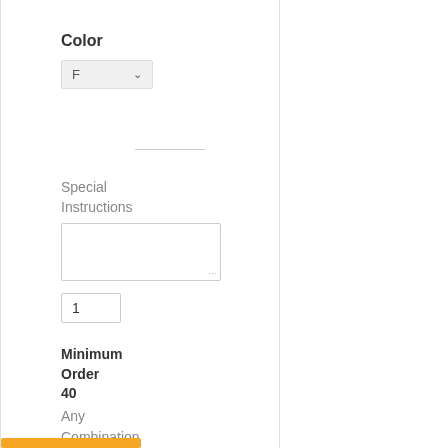Color
[Figure (screenshot): Dropdown selector showing letter F with chevron arrow, light gray background]
Special Instructions
[Figure (screenshot): Empty textarea input box with resize handle]
[Figure (screenshot): Quantity input box showing value 1]
Minimum Order 40 Any Combination Helmet Products
[Figure (other): Orange/amber horizontal bar button at bottom]